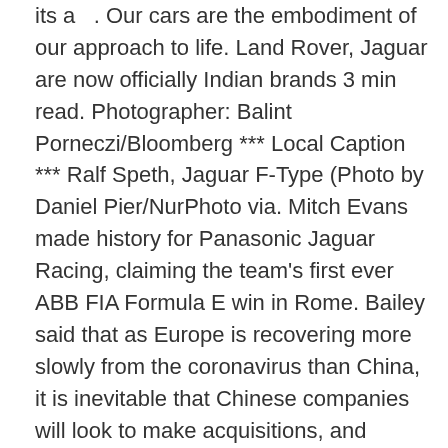its a  . Our cars are the embodiment of our approach to life. Land Rover, Jaguar are now officially Indian brands 3 min read. Photographer: Balint Porneczi/Bloomberg *** Local Caption *** Ralf Speth, Jaguar F-Type (Photo by Daniel Pier/NurPhoto via. Mitch Evans made history for Panasonic Jaguar Racing, claiming the team's first ever ABB FIA Formula E win in Rome. Bailey said that as Europe is recovering more slowly from the coronavirus than China, it is inevitable that Chinese companies will look to make acquisitions, and Jaguar might be on their radar. Latest details about Jaguar XF's mileage, configurations, images, colors & reviews available at CarandBike. We believe in making every day extraordinary; that life is about feelings, not figures. The SEPECAT Jaguar is an Anglo-French jet attack aircraft designed and developed by a joint venture between Breguet of France (Now part